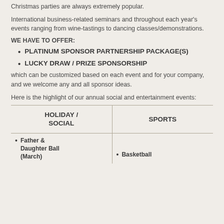Christmas parties are always extremely popular.
International business-related seminars and throughout each year's events ranging from wine-tastings to dancing classes/demonstrations.
WE HAVE TO OFFER:
PLATINUM SPONSOR PARTNERSHIP PACKAGE(S)
LUCKY DRAW / PRIZE SPONSORSHIP
which can be customized based on each event and for your company, and we welcome any and all sponsor ideas.
Here is the highlight of our annual social and entertainment events:
| HOLIDAY / SOCIAL | SPORTS |
| --- | --- |
| • Father & Daughter Ball (March) | • Basketball |